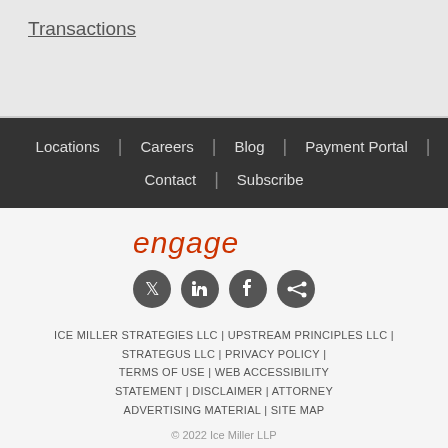Transactions
Locations | Careers | Blog | Payment Portal | Contact | Subscribe
[Figure (logo): engage logo in red italic text with social media icons: Twitter, LinkedIn, Facebook, Share]
ICE MILLER STRATEGIES LLC | UPSTREAM PRINCIPLES LLC | STRATEGUS LLC | PRIVACY POLICY | TERMS OF USE | WEB ACCESSIBILITY STATEMENT | DISCLAIMER | ATTORNEY ADVERTISING MATERIAL | SITE MAP
© 2022 Ice Miller LLP
The Ice Miller logo is a registered trademark of Ice Miller LLP